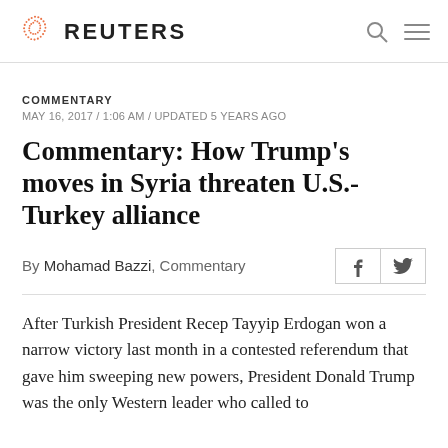REUTERS
COMMENTARY
MAY 16, 2017 / 1:06 AM / UPDATED 5 YEARS AGO
Commentary: How Trump's moves in Syria threaten U.S.-Turkey alliance
By Mohamad Bazzi, Commentary
After Turkish President Recep Tayyip Erdogan won a narrow victory last month in a contested referendum that gave him sweeping new powers, President Donald Trump was the only Western leader who called to